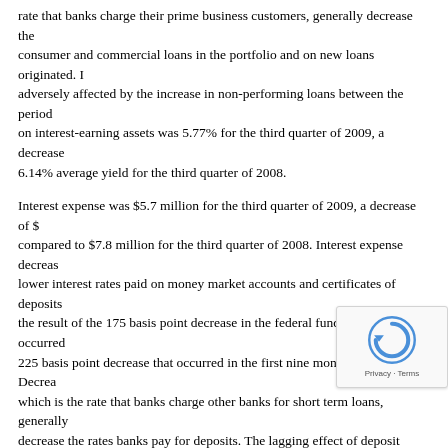rate that banks charge their prime business customers, generally decrease the consumer and commercial loans in the portfolio and on new loans originated. In adversely affected by the increase in non-performing loans between the periods on interest-earning assets was 5.77% for the third quarter of 2009, a decrease 6.14% average yield for the third quarter of 2008.
Interest expense was $5.7 million for the third quarter of 2009, a decrease of $ compared to $7.8 million for the third quarter of 2008. Interest expense decreas lower interest rates paid on money market accounts and certificates of deposits, the result of the 175 basis point decrease in the federal funds rate that occurred 225 basis point decrease that occurred in the first nine months of 2008. Decrea which is the rate that banks charge other banks for short term loans, generally decrease the rates banks pay for deposits. The lagging effect of deposit rate ch Bank's deposits that are in the form of certificates of deposit which do not repri federal funds rate changes. The average interest rate paid on interest bearing l third quarter of 2009, a decrease of 69 basis points from the 3.12% average ra 2008. Net interest margin (net interest income divided by average interest earn quarter of 2009 was 3.46%, an increase of 25 basis points, compared to 3.21%
Provision for Loan Losses
The provision for loan losses was $3.4 million for the third quarter compared to $15.8 million for the third quarter of 2008. The provi $12.9 million provision and related charge-off recorded in the third quarter of 20